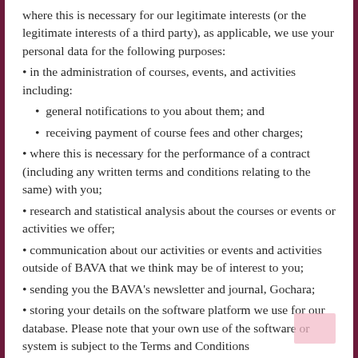where this is necessary for our legitimate interests (or the legitimate interests of a third party), as applicable, we use your personal data for the following purposes:
in the administration of courses, events, and activities including:
general notifications to you about them; and
receiving payment of course fees and other charges;
where this is necessary for the performance of a contract (including any written terms and conditions relating to the same) with you;
research and statistical analysis about the courses or events or activities we offer;
communication about our activities or events and activities outside of BAVA that we think may be of interest to you;
sending you the BAVA's newsletter and journal, Gochara;
storing your details on the software platform we use for our database. Please note that your own use of the software or system is subject to the Terms and Conditions